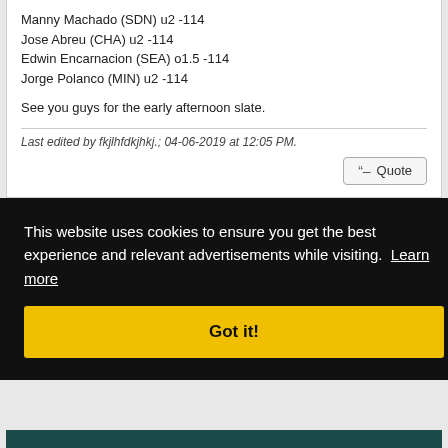Manny Machado (SDN) u2 -114
Jose Abreu (CHA) u2 -114
Edwin Encarnacion (SEA) o1.5 -114
Jorge Polanco (MIN) u2 -114
See you guys for the early afternoon slate.
Last edited by fkjlhfdkjhkj.; 04-06-2019 at 12:05 PM.
Quote
04-06-2019, 12:12 PM   #96
HRR
Quote
This website uses cookies to ensure you get the best experience and relevant advertisements while visiting. Learn more
Got it!